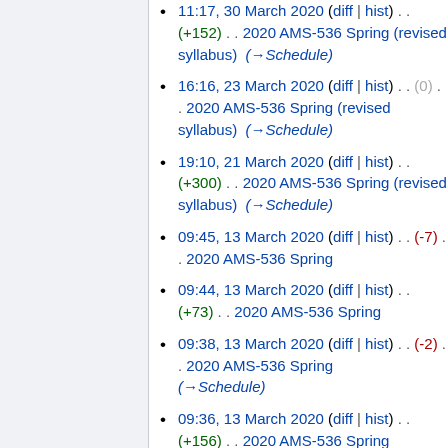11:17, 30 March 2020 (diff | hist) . . (+152) . . 2020 AMS-536 Spring (revised syllabus) (→Schedule)
16:16, 23 March 2020 (diff | hist) . . (0) . . 2020 AMS-536 Spring (revised syllabus) (→Schedule)
19:10, 21 March 2020 (diff | hist) . . (+300) . . 2020 AMS-536 Spring (revised syllabus) (→Schedule)
09:45, 13 March 2020 (diff | hist) . . (-7) . . 2020 AMS-536 Spring
09:44, 13 March 2020 (diff | hist) . . (+73) . . 2020 AMS-536 Spring
09:38, 13 March 2020 (diff | hist) . . (-2) . . 2020 AMS-536 Spring (→Schedule)
09:36, 13 March 2020 (diff | hist) . . (+156) . . 2020 AMS-536 Spring
11:21, 17 February 2020 (diff | hist) . . (-191) . . 2020 AMS-536 Spring